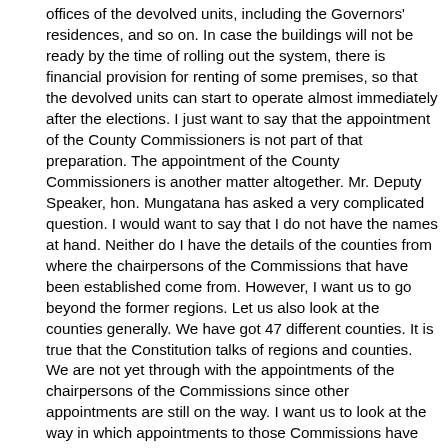offices of the devolved units, including the Governors' residences, and so on. In case the buildings will not be ready by the time of rolling out the system, there is financial provision for renting of some premises, so that the devolved units can start to operate almost immediately after the elections. I just want to say that the appointment of the County Commissioners is not part of that preparation. The appointment of the County Commissioners is another matter altogether. Mr. Deputy Speaker, hon. Mungatana has asked a very complicated question. I would want to say that I do not have the names at hand. Neither do I have the details of the counties from where the chairpersons of the Commissions that have been established come from. However, I want us to go beyond the former regions. Let us also look at the counties generally. We have got 47 different counties. It is true that the Constitution talks of regions and counties. We are not yet through with the appointments of the chairpersons of the Commissions since other appointments are still on the way. I want us to look at the way in which appointments to those Commissions have been carried out. You begin, first, by setting up a fairly representative panel to carry out the interviews, after the Public Service Commission has carried out the advertisement and the short-listing. Mr. Deputy Speaker, Sir, those who are qualified are interviewed by a fairly professional